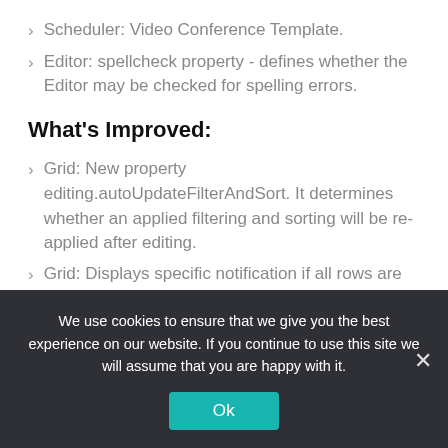Scheduler: Video Conference Template.
Editor: spellcheck property - defines whether the Editor may be checked for spelling errors.
What's Improved:
Grid: New property editing.autoUpdateFilterAndSort. It determines whether an applied filtering and sorting will be re-applied after editing.
Grid: Displays specific notification if all rows are filtered.
We use cookies to ensure that we give you the best experience on our website. If you continue to use this site we will assume that you are happy with it.